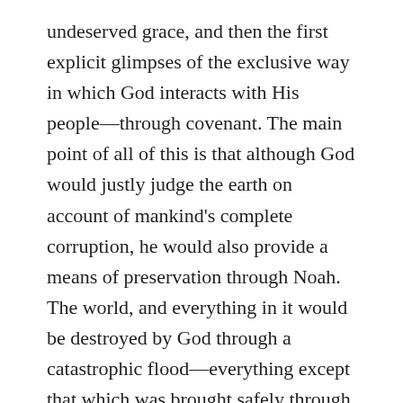undeserved grace, and then the first explicit glimpses of the exclusive way in which God interacts with His people—through covenant. The main point of all of this is that although God would justly judge the earth on account of mankind's complete corruption, he would also provide a means of preservation through Noah. The world, and everything in it would be destroyed by God through a catastrophic flood—everything except that which was brought safely through on a boat by the mercy of God.
Before we pray and get to these things in the text, though, I want to highlight three things. First, I want to name the elephant in the room